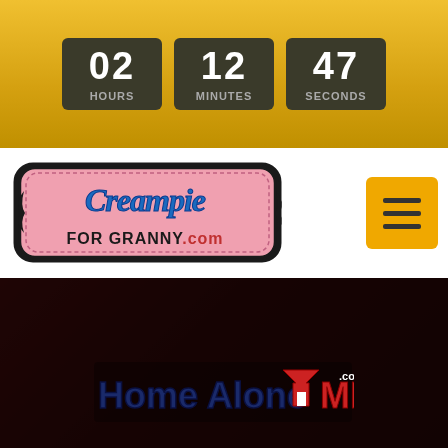[Figure (other): Countdown timer showing 02 HOURS, 12 MINUTES, 47 SECONDS on a gold background]
[Figure (logo): Creampie For Granny .com logo with stylized script text on pink badge with black border]
[Figure (other): Orange hamburger menu button with three horizontal lines]
[Figure (photo): Dark video thumbnail background with Home Alone MILFs logo overlaid]
PANDORA'S PIERCED BOX
15 Mins
Pandora
Aug 19
★ 4.6/5 Stars
👁 1K+